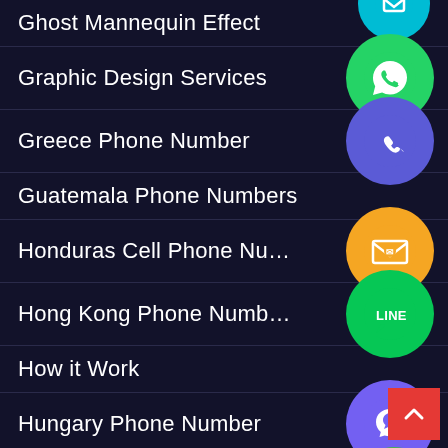Ghost Mannequin Effect
Graphic Design Services
Greece Phone Number
Guatemala Phone Numbers
Honduras Cell Phone Nu…
Hong Kong Phone Numb…
How it Work
Hungary Phone Number
Iceland Phone Number
Illustrator Art Work
[Figure (illustration): Various social media and communication app icons (WhatsApp, phone, email, LINE, Viber, close button) floating on the right side of the list]